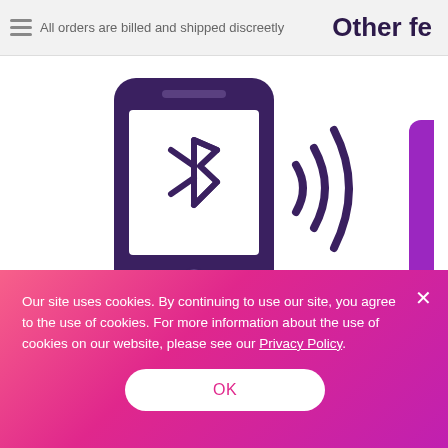All orders are billed and shipped discreetly   Other fe
[Figure (illustration): Smartphone with Bluetooth symbol sending wireless signal waves to the right, with a partial purple device visible at the right edge. Illustrated in dark purple/violet on white background.]
Close-Range Control
Our site uses cookies. By continuing to use our site, you agree to the use of cookies. For more information about the use of cookies on our website, please see our Privacy Policy.